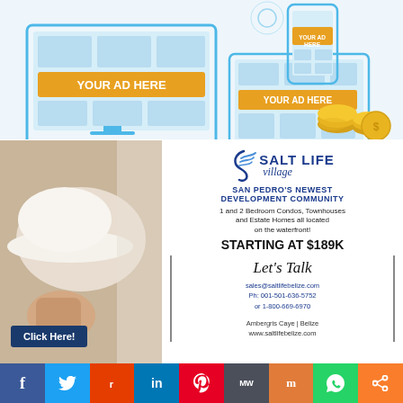[Figure (illustration): Advertising illustration showing desktop monitor, tablet, and mobile phone with 'YOUR AD HERE' placeholder banners in blue and gold]
[Figure (illustration): Salt Life Village real estate advertisement with woman in white hat, logo, property description, price starting at $189K, contact info, and 'Click Here!' button]
[Figure (infographic): Social media share bar with buttons for Facebook (f), Twitter, Reddit, LinkedIn, Pinterest, MeWe (MW), Mix (m), WhatsApp, and Share icons]